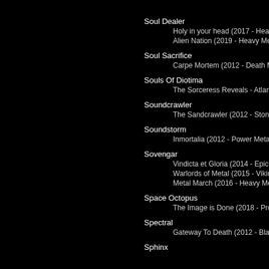Soul Dealer
Holy in your head (2017 - Heavy
Alien Nation (2019 - Heavy Meta
Soul Sacrifice
Carpe Mortem (2012 - Death Me
Souls Of Diotima
The Sorceress Reveals - Atlantis
Soundcrawler
The Sandcrawler (2012 - Stoner
Soundstorm
Inmortalia (2012 - Power Metal )
Sovengar
Vindicta et Gloria (2014 - Epic / P
Warlords of Metal (2015 - Viking
Metal March (2016 - Heavy Metal
Space Octopus
The Image is Done (2018 - Prog
Spectral
Gateway To Death (2012 - Black
Sphinx